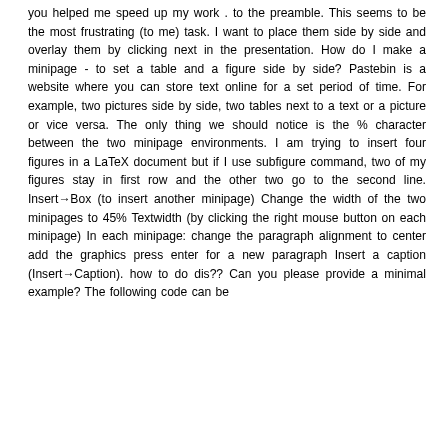you helped me speed up my work . to the preamble. This seems to be the most frustrating (to me) task. I want to place them side by side and overlay them by clicking next in the presentation. How do I make a minipage - to set a table and a figure side by side? Pastebin is a website where you can store text online for a set period of time. For example, two pictures side by side, two tables next to a text or a picture or vice versa. The only thing we should notice is the % character between the two minipage environments. I am trying to insert four figures in a LaTeX document but if I use subfigure command, two of my figures stay in first row and the other two go to the second line. Insert→Box (to insert another minipage) Change the width of the two minipages to 45% Textwidth (by clicking the right mouse button on each minipage) In each minipage: change the paragraph alignment to center add the graphics press enter for a new paragraph Insert a caption (Insert→Caption). how to do dis?? Can you please provide a minimal example? The following code can be